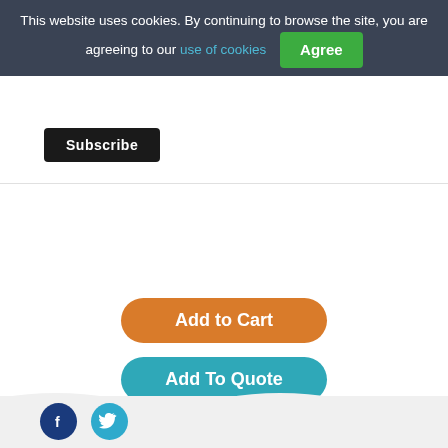This website uses cookies. By continuing to browse the site, you are agreeing to our use of cookies  Agree
[Figure (screenshot): Subscribe button (dark/black background, white bold text)]
[Figure (screenshot): Add to Cart button (orange, rounded) and Add To Quote button (teal, rounded)]
[Figure (screenshot): Footer area with Facebook and Twitter social icons]
Delivery and Returns
Cookies
Privacy Policy
Terms & Conditions
Dispute Resolution